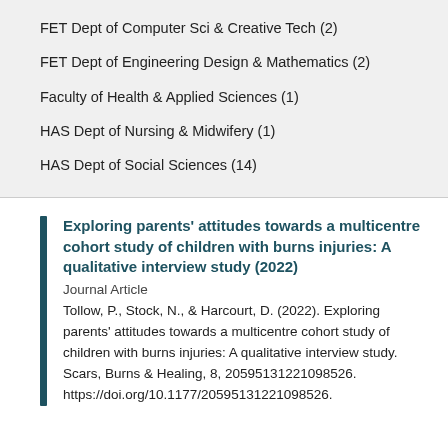FET Dept of Computer Sci & Creative Tech (2)
FET Dept of Engineering Design & Mathematics (2)
Faculty of Health & Applied Sciences (1)
HAS Dept of Nursing & Midwifery (1)
HAS Dept of Social Sciences (14)
Exploring parents' attitudes towards a multicentre cohort study of children with burns injuries: A qualitative interview study (2022)
Journal Article
Tollow, P., Stock, N., & Harcourt, D. (2022). Exploring parents' attitudes towards a multicentre cohort study of children with burns injuries: A qualitative interview study. Scars, Burns & Healing, 8, 20595131221098526.
https://doi.org/10.1177/20595131221098526.